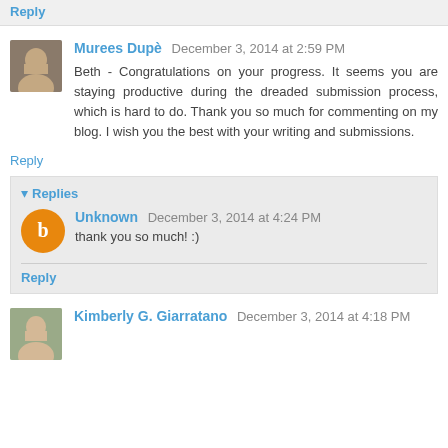Reply
Murees Dupè  December 3, 2014 at 2:59 PM
Beth - Congratulations on your progress. It seems you are staying productive during the dreaded submission process, which is hard to do. Thank you so much for commenting on my blog. I wish you the best with your writing and submissions.
Reply
Replies
Unknown  December 3, 2014 at 4:24 PM
thank you so much! :)
Reply
Kimberly G. Giarratano  December 3, 2014 at 4:18 PM